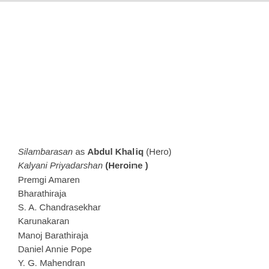Silambarasan as Abdul Khaliq (Hero)
Kalyani Priyadarshan (Heroine )
Premgi Amaren
Bharathiraja
S. A. Chandrasekhar
Karunakaran
Manoj Barathiraja
Daniel Annie Pope
Y. G. Mahendran
Directed by Venkat Prabhu